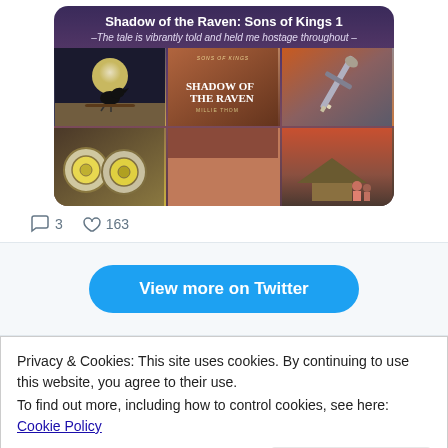[Figure (screenshot): Book promotional card for 'Shadow of the Raven: Sons of Kings 1' with a grid of images showing a raven, book cover, sword, shields, and village scene. Subtitle: 'The tale is vibrantly told and held me hostage throughout']
3  163
[Figure (screenshot): Blue button labeled 'View more on Twitter' on light grey background]
Privacy & Cookies: This site uses cookies. By continuing to use this website, you agree to their use.
To find out more, including how to control cookies, see here:
Cookie Policy
Close and accept